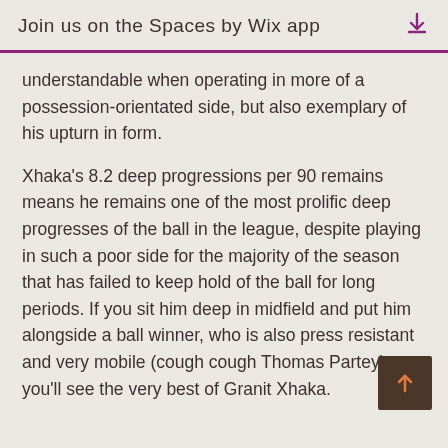Join us on the Spaces by Wix app
understandable when operating in more of a possession-orientated side, but also exemplary of his upturn in form.
Xhaka's 8.2 deep progressions per 90 remains means he remains one of the most prolific deep progresses of the ball in the league, despite playing in such a poor side for the majority of the season that has failed to keep hold of the ball for long periods. If you sit him deep in midfield and put him alongside a ball winner, who is also press resistant and very mobile (cough cough Thomas Partey), you'll see the very best of Granit Xhaka.